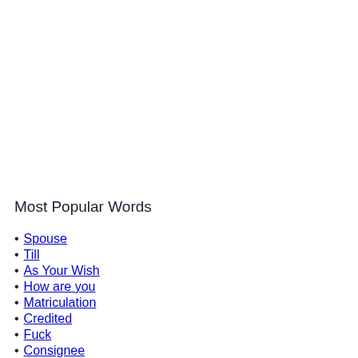Most Popular Words
Spouse
Till
As Your Wish
How are you
Matriculation
Credited
Fuck
Consignee
Reacted
Scheduled Caste